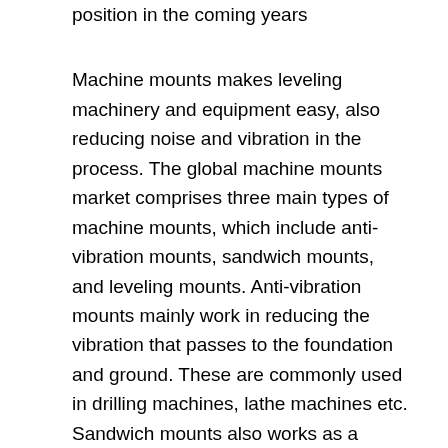position in the coming years
Machine mounts makes leveling machinery and equipment easy, also reducing noise and vibration in the process. The global machine mounts market comprises three main types of machine mounts, which include anti-vibration mounts, sandwich mounts, and leveling mounts. Anti-vibration mounts mainly work in reducing the vibration that passes to the foundation and ground. These are commonly used in drilling machines, lathe machines etc. Sandwich mounts also works as a vibration isolator. Leveling mounts are pads or feet designed to look like discs with varying shapes, which have an additional feature of setting the level of the machine, and help in achieving accurate results. Given its multi-functional properties it is the most